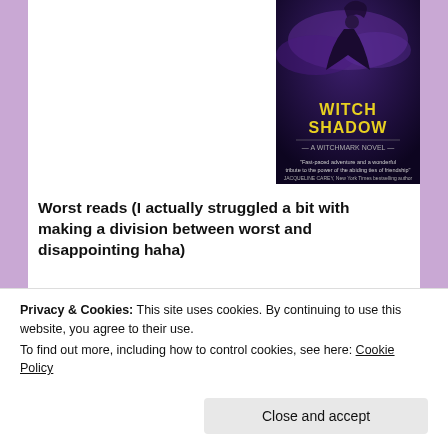[Figure (illustration): Book cover of 'Witchshadow' — dark fantasy cover with figure and yellow title text on dark purple/stormy background]
Worst reads (I actually struggled a bit with making a division between worst and disappointing haha)
[Figure (illustration): Book cover of 'Bunny' by Mona Awad — black background with large orange/salmon bunny silhouette and pink cursive title text]
[Figure (illustration): Book cover of 'A Winter's Promise' — blue illustrated castle/city with banner ribbon and title text]
[Figure (illustration): Book cover of 'The Goblin Emperor' by Katherine Addison — fantasy architectural scene with title in ornate font]
Privacy & Cookies: This site uses cookies. By continuing to use this website, you agree to their use.
To find out more, including how to control cookies, see here: Cookie Policy
[Figure (illustration): Partial book cover with 'WOLF' text visible at bottom right]